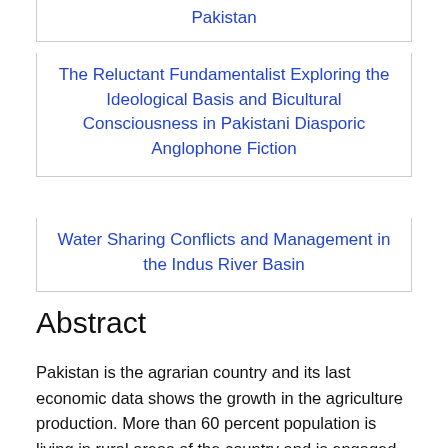Pakistan
The Reluctant Fundamentalist Exploring the Ideological Basis and Bicultural Consciousness in Pakistani Diasporic Anglophone Fiction
Water Sharing Conflicts and Management in the Indus River Basin
Abstract
Pakistan is the agrarian country and its last economic data shows the growth in the agriculture production. More than 60 percent population is living in rural areas of the country and is engaged with agriculture activities. While the agro based industry is linked with agriculture sector and use agriculture raw material for production of final goods. The agro based industry provides income and employment